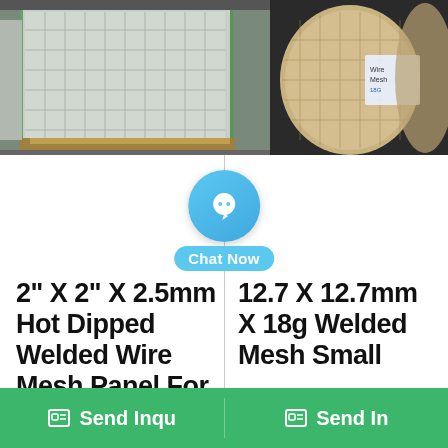[Figure (photo): Left: stacked wire mesh panels in a warehouse. Right: rolls of wire mesh with label.]
[Figure (infographic): Chat Now button with blue circle icon overlay]
2" X 2" X 2.5mm Hot Dipped Welded Wire Mesh Panel For
12.7 X 12.7mm X 18g Welded Mesh Small
Send Inqu
Send In